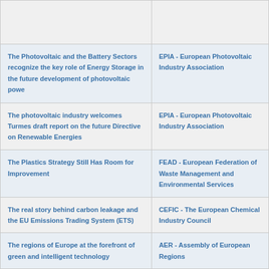| Title | Organization |
| --- | --- |
|  |  |
| The Photovoltaic and the Battery Sectors recognize the key role of Energy Storage in the future development of photovoltaic powe | EPIA - European Photovoltaic Industry Association |
| The photovoltaic industry welcomes Turmes draft report on the future Directive on Renewable Energies | EPIA - European Photovoltaic Industry Association |
| The Plastics Strategy Still Has Room for Improvement | FEAD - European Federation of Waste Management and Environmental Services |
| The real story behind carbon leakage and the EU Emissions Trading System (ETS) | CEFIC - The European Chemical Industry Council |
| The regions of Europe at the forefront of green and intelligent technology | AER - Assembly of European Regions |